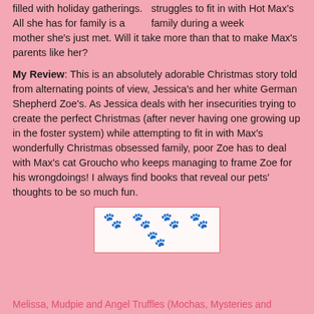struggles to fit in with Hot Max's family during a week filled with holiday gatherings. All she has for family is a mother she's just met. Will it take more than that to make Max's parents like her?
My Review: This is an absolutely adorable Christmas story told from alternating points of view, Jessica's and her white German Shepherd Zoe's. As Jessica deals with her insecurities trying to create the perfect Christmas (after never having one growing up in the foster system) while attempting to fit in with Max's wonderfully Christmas obsessed family, poor Zoe has to deal with Max's cat Groucho who keeps managing to frame Zoe for his wrongdoings! I always find books that reveal our pets' thoughts to be so much fun.
[Figure (other): Five paw print emoji symbols in a bordered box, used as a rating]
Melissa, Mudpie and Angel Truffles (Mochas, Mysteries and